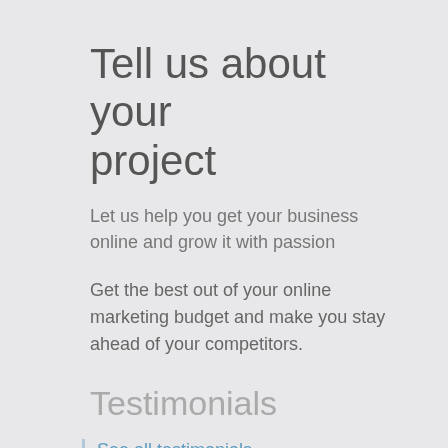Tell us about your project
Let us help you get your business online and grow it with passion
Get the best out of your online marketing budget and make you stay ahead of your competitors.
Testimonials
See all testimonials
“We’ve looked at a lot of SEO solutions but ClicksFi guys were